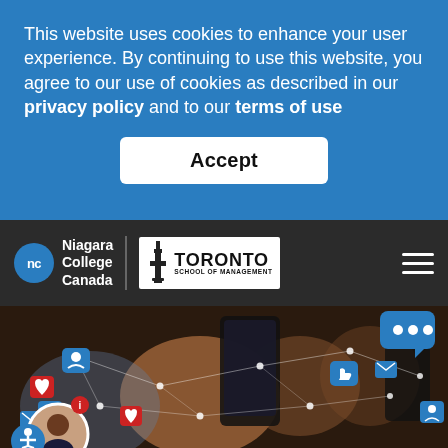This website uses cookies to enhance your user experience. By continuing to use this website, you agree to our use of cookies as described in our privacy policy and to our terms of use
[Figure (screenshot): Accept button for cookie consent]
[Figure (logo): Niagara College Canada and Toronto School of Management navigation bar with hamburger menu]
[Figure (photo): Hero image showing two people using smartphones with social media network icons overlaid (likes, messages, profile icons) and a profile photo in bottom-left corner with accessibility button]